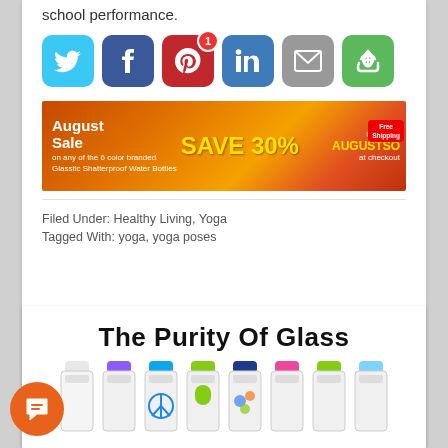school performance.
[Figure (infographic): Row of social media share buttons: Twitter (blue bird), Facebook (blue f), Pinterest (red P with badge 1), LinkedIn (blue in), Email (grey envelope), Share (green circular arrows)]
[Figure (infographic): August Sale banner ad: SAVE 30% on Glasstic Shatterproof Water Bottles, use code AUGUSTSO at checkout, free shipping]
Filed Under: Healthy Living, Yoga
Tagged With: yoga, yoga poses
The Purity Of Glass
[Figure (photo): Row of colorful Glasstic glass water bottles with various cap colors and designs]